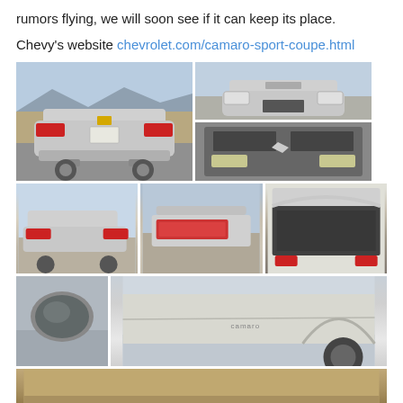rumors flying, we will soon see if it can keep its place.
Chevy's website chevrolet.com/camaro-sport-coupe.html
[Figure (photo): Grid of 9 photos of a silver Chevrolet Camaro from various angles: rear view, front view, front grille close-up, rear quarter, spoiler/tail light, open trunk, side mirror, side body panel, and partial bottom row.]